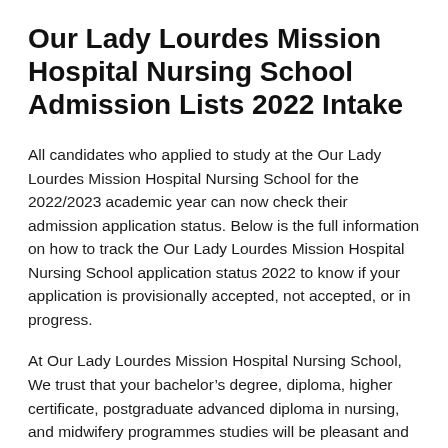Our Lady Lourdes Mission Hospital Nursing School Admission Lists 2022 Intake
All candidates who applied to study at the Our Lady Lourdes Mission Hospital Nursing School for the 2022/2023 academic year can now check their admission application status. Below is the full information on how to track the Our Lady Lourdes Mission Hospital Nursing School application status 2022 to know if your application is provisionally accepted, not accepted, or in progress.
At Our Lady Lourdes Mission Hospital Nursing School, We trust that your bachelor’s degree, diploma, higher certificate, postgraduate advanced diploma in nursing, and midwifery programmes studies will be pleasant and rewarding.
Below is where you can successfully track the Our Lady Lourdes Mission Hospital Nursing School application status